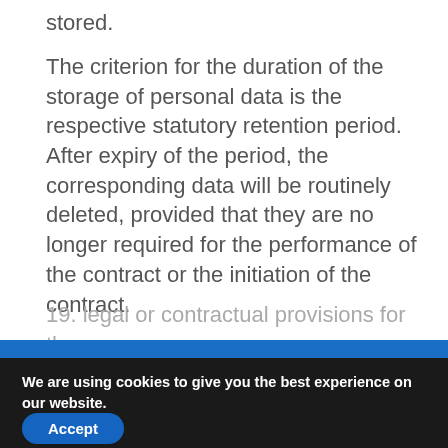stored.
The criterion for the duration of the storage of personal data is the respective statutory retention period. After expiry of the period, the corresponding data will be routinely deleted, provided that they are no longer required for the performance of the contract or the initiation of the contract.
19. legal or contractual provisions for the
We are using cookies to give you the best experience on our website.
You can find out more about which cookies we are using or switch them off in settings.
Accept